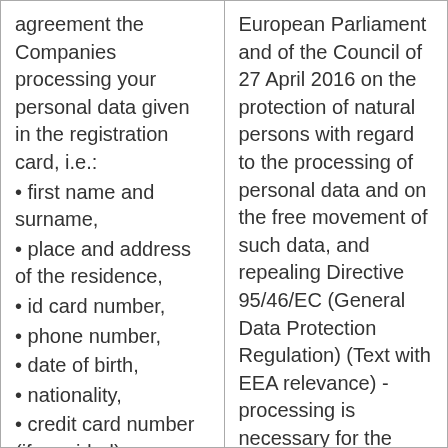agreement the Companies processing your personal data given in the registration card, i.e.:
• first name and surname,
• place and address of the residence,
• id card number,
• phone number,
• date of birth,
• nationality,
• credit card number (if provided),
• car registration number (if provided).
European Parliament and of the Council of 27 April 2016 on the protection of natural persons with regard to the processing of personal data and on the free movement of such data, and repealing Directive 95/46/EC (General Data Protection Regulation) (Text with EEA relevance) - processing is necessary for the performance of a contract to which the you are the party or